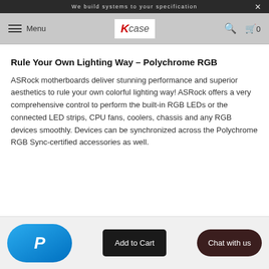We build systems to your specification
Rule Your Own Lighting Way – Polychrome RGB
ASRock motherboards deliver stunning performance and superior aesthetics to rule your own colorful lighting way! ASRock offers a very comprehensive control to perform the built-in RGB LEDs or the connected LED strips, CPU fans, coolers, chassis and any RGB devices smoothly. Devices can be synchronized across the Polychrome RGB Sync-certified accessories as well.